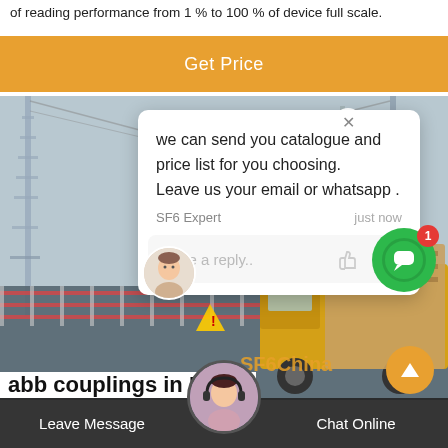of reading performance from 1 % to 100 % of device full scale.
[Figure (screenshot): Orange 'Get Price' button bar]
[Figure (photo): Industrial/crane site background with yellow truck, chat popup overlay showing 'we can send you catalogue and price list for you choosing. Leave us your email or whatsapp .' from SF6 Expert, reply input box, green chat icon with badge 1, SF6China watermark, orange scroll-to-top button]
we can send you catalogue and price list for you choosing. Leave us your email or whatsapp .
SF6 Expert   just now
Write a reply..
Leave Message
Chat Online
abb couplings in Niger